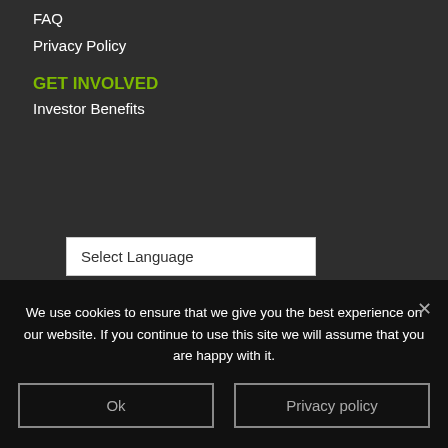FAQ
Privacy Policy
GET INVOLVED
Investor Benefits
Select Language
Powered by Google Translate
We use cookies to ensure that we give you the best experience on our website. If you continue to use this site we will assume that you are happy with it.
Ok
Privacy policy